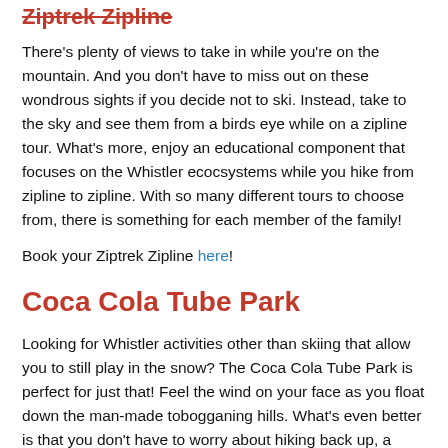Ziptrek Zipline (partial, strikethrough at top)
There's plenty of views to take in while you're on the mountain. And you don't have to miss out on these wondrous sights if you decide not to ski. Instead, take to the sky and see them from a birds eye while on a zipline tour. What's more, enjoy an educational component that focuses on the Whistler ecocsystems while you hike from zipline to zipline. With so many different tours to choose from, there is something for each member of the family!
Book your Ziptrek Zipline here!
Coca Cola Tube Park
Looking for Whistler activities other than skiing that allow you to still play in the snow? The Coca Cola Tube Park is perfect for just that! Feel the wind on your face as you float down the man-made tobogganing hills. What's even better is that you don't have to worry about hiking back up, a special